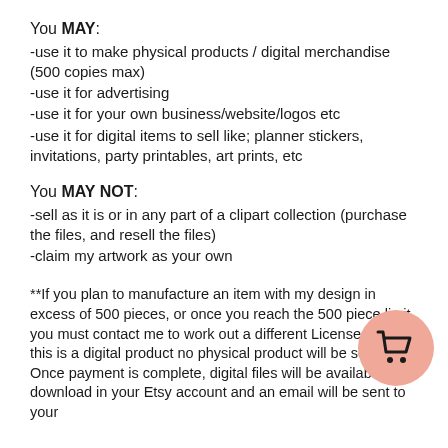You MAY:
-use it to make physical products / digital merchandise (500 copies max)
-use it for advertising
-use it for your own business/website/logos etc
-use it for digital items to sell like; planner stickers, invitations, party printables, art prints, etc
You MAY NOT:
-sell as it is or in any part of a clipart collection (purchase the files, and resell the files)
-claim my artwork as your own
**If you plan to manufacture an item with my design in excess of 500 pieces, or once you reach the 500 piece limit, you must contact me to work out a different License plan.**
this is a digital product no physical product will be sent.
Once payment is complete, digital files will be available to download in your Etsy account and an email will be sent to your